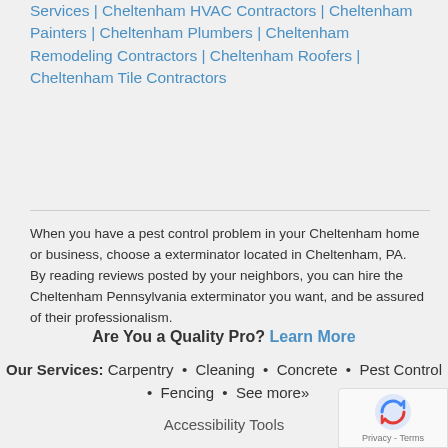Services | Cheltenham HVAC Contractors | Cheltenham Painters | Cheltenham Plumbers | Cheltenham Remodeling Contractors | Cheltenham Roofers | Cheltenham Tile Contractors
When you have a pest control problem in your Cheltenham home or business, choose a exterminator located in Cheltenham, PA. By reading reviews posted by your neighbors, you can hire the Cheltenham Pennsylvania exterminator you want, and be assured of their professionalism.
Are You a Quality Pro? Learn More
Our Services: Carpentry • Cleaning • Concrete • Pest Control • Fencing • See more»
Accessibility Tools